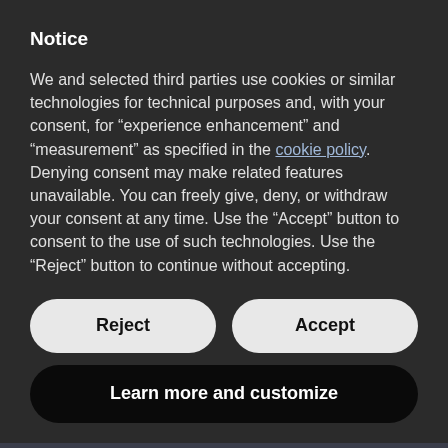Notice
We and selected third parties use cookies or similar technologies for technical purposes and, with your consent, for “experience enhancement” and “measurement” as specified in the cookie policy. Denying consent may make related features unavailable. You can freely give, deny, or withdraw your consent at any time. Use the “Accept” button to consent to the use of such technologies. Use the “Reject” button to continue without accepting.
Reject
Accept
Learn more and customize
[Figure (other): Social media icon buttons: Facebook, Instagram, Twitter, and a blue scroll-to-top arrow button]